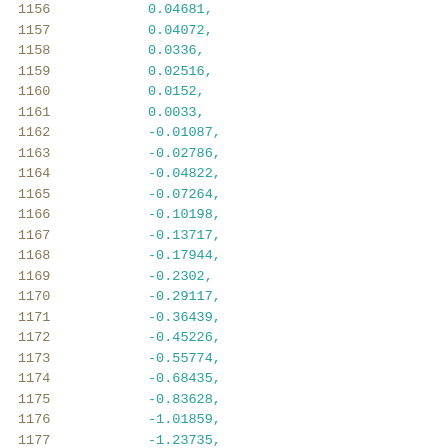1156    0.04681,
1157    0.04072,
1158    0.0336,
1159    0.02516,
1160    0.0152,
1161    0.0033,
1162    -0.01087,
1163    -0.02786,
1164    -0.04822,
1165    -0.07264,
1166    -0.10198,
1167    -0.13717,
1168    -0.17944,
1169    -0.2302,
1170    -0.29117,
1171    -0.36439,
1172    -0.45226,
1173    -0.55774,
1174    -0.68435,
1175    -0.83628,
1176    -1.01859,
1177    -1.23735,